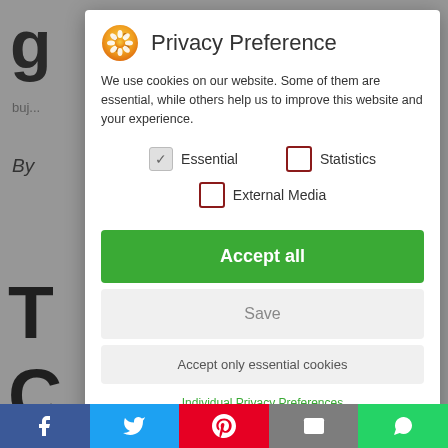[Figure (screenshot): Privacy Preference modal dialog overlay on a webpage. The modal has a cookie/privacy icon, title 'Privacy Preference', descriptive text about cookies, checkboxes for Essential (checked), Statistics (unchecked), and External Media (unchecked), buttons for 'Accept all', 'Save', 'Accept only essential cookies', a green link 'Individual Privacy Preferences', and footer links 'Cookie Details | Privacy Policy'. Below the modal is a social sharing bar with Facebook, Twitter, Pinterest, Email, and WhatsApp buttons.]